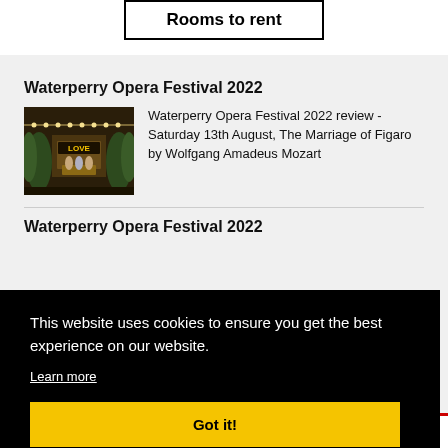Rooms to rent
Waterperry Opera Festival 2022
[Figure (photo): Theater scene with performers on stage with string lights and greenery spelling LOVE]
Waterperry Opera Festival 2022 review - Saturday 13th August, The Marriage of Figaro by Wolfgang Amadeus Mozart
Waterperry Opera Festival 2022
iew - in the
This website uses cookies to ensure you get the best experience on our website.
Learn more
Got it!
PART TIME SCOUT